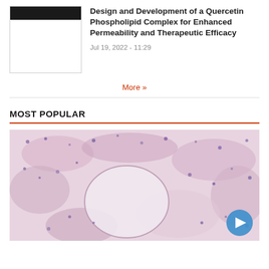[Figure (photo): Thumbnail image of article with dark header bar at top]
Design and Development of a Quercetin Phospholipid Complex for Enhanced Permeability and Therapeutic Efficacy
Jul 19, 2022 - 11:29
More »
MOST POPULAR
[Figure (photo): Histology microscope image showing tissue cross-section with pink and purple staining, featuring a clear circular vessel structure. A blue play button triangle icon in bottom right corner.]